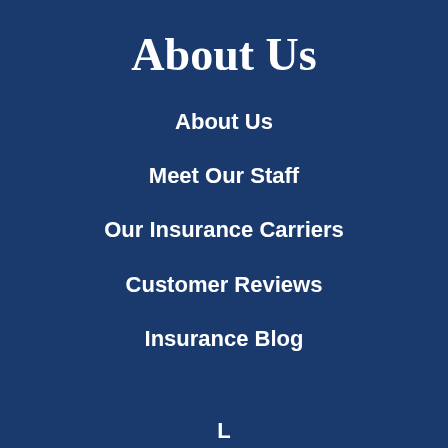About Us
About Us
Meet Our Staff
Our Insurance Carriers
Customer Reviews
Insurance Blog
L...